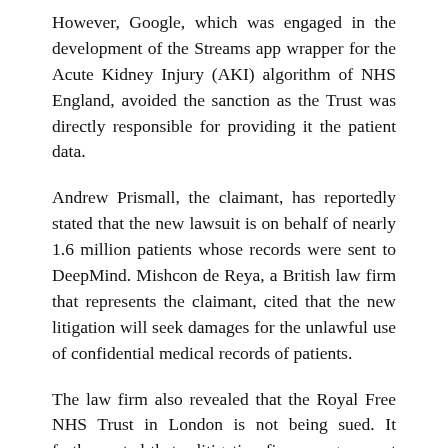However, Google, which was engaged in the development of the Streams app wrapper for the Acute Kidney Injury (AKI) algorithm of NHS England, avoided the sanction as the Trust was directly responsible for providing it the patient data.
Andrew Prismall, the claimant, has reportedly stated that the new lawsuit is on behalf of nearly 1.6 million patients whose records were sent to DeepMind. Mishcon de Reya, a British law firm that represents the claimant, cited that the new litigation will seek damages for the unlawful use of confidential medical records of patients.
The law firm also revealed that the Royal Free NHS Trust in London is not being sued. It further noted that a litigation finance agreement with Australia-based Litigation Capital Management Limited is funding the new litigation.